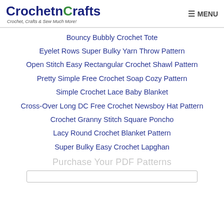CrochetnCrafts - Crochet, Crafts & Sew Much More!
Bouncy Bubbly Crochet Tote
Eyelet Rows Super Bulky Yarn Throw Pattern
Open Stitch Easy Rectangular Crochet Shawl Pattern
Pretty Simple Free Crochet Soap Cozy Pattern
Simple Crochet Lace Baby Blanket
Cross-Over Long DC Free Crochet Newsboy Hat Pattern
Crochet Granny Stitch Square Poncho
Lacy Round Crochet Blanket Pattern
Super Bulky Easy Crochet Lapghan
Purchase Your PDF Patterns